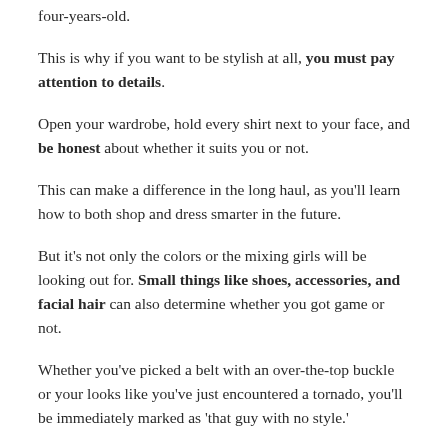four-years-old.
This is why if you want to be stylish at all, you must pay attention to details.
Open your wardrobe, hold every shirt next to your face, and be honest about whether it suits you or not.
This can make a difference in the long haul, as you'll learn how to both shop and dress smarter in the future.
But it's not only the colors or the mixing girls will be looking out for. Small things like shoes, accessories, and facial hair can also determine whether you got game or not.
Whether you've picked a belt with an over-the-top buckle or your looks like you've just encountered a tornado, you'll be immediately marked as 'that guy with no style.'